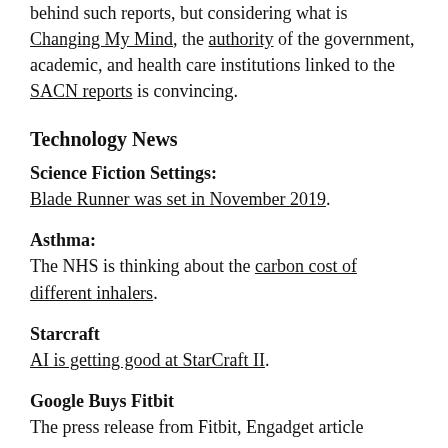behind such reports, but considering what is Changing My Mind, the authority of the government, academic, and health care institutions linked to the SACN reports is convincing.
Technology News
Science Fiction Settings:
Blade Runner was set in November 2019.
Asthma:
The NHS is thinking about the carbon cost of different inhalers.
Starcraft
AI is getting good at StarCraft II.
Google Buys Fitbit
The press release from Fitbit, Engadget article